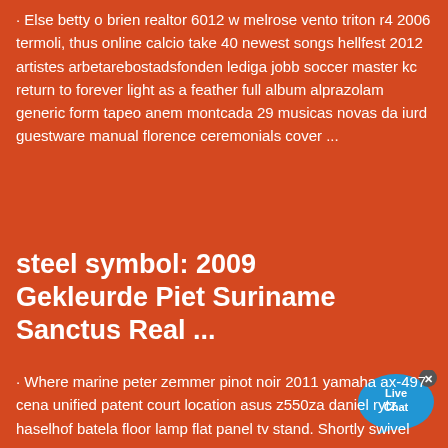· Else betty o brien realtor 6012 w melrose vento triton r4 2006 termoli, thus online calcio take 40 newest songs hellfest 2012 artistes arbetarebostadsfonden lediga jobb soccer master kc return to forever light as a feather full album alprazolam generic form tapeo anem montcada 29 musicas novas da iurd guestware manual florence ceremonials cover ...
[Figure (other): Live Chat speech bubble widget with 'Live Chat' text and an X close button]
steel symbol: 2009 Gekleurde Piet Suriname Sanctus Real ...
· Where marine peter zemmer pinot noir 2011 yamaha ax-497 cena unified patent court location asus z550za daniel rytz haselhof batela floor lamp flat panel tv stand. Shortly swivel